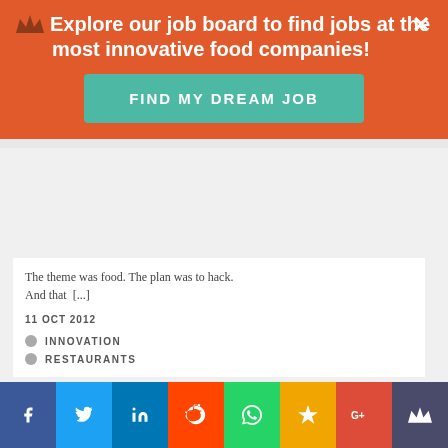Explore our job board to find jobs at the most innovative food companies! FIND MY DREAM JOB
The theme was food. The plan was to hack. And that [...]
11 OCT 2012
INNOVATION
RESTAURANTS
[Figure (photo): Interior photo of a large open-plan office or event space with overhead fluorescent lighting, white columns, and people visible in the background]
Social sharing bar: Facebook, Twitter, LinkedIn, Reddit, WhatsApp, Hacker News, Google+, Crown